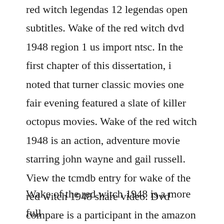red witch legendas 12 legendas open subtitles. Wake of the red witch dvd 1948 region 1 us import ntsc. In the first chapter of this dissertation, i noted that turner classic movies one fair evening featured a slate of killer octopus movies. Wake of the red witch 1948 is an action, adventure movie starring john wayne and gail russell. View the tcmdb entry for wake of the red witch 1948 share video. Dvd compare is a participant in the amazon services llc associates program and the amazon europe s.
Wake of the red witch 1948 is a more full...